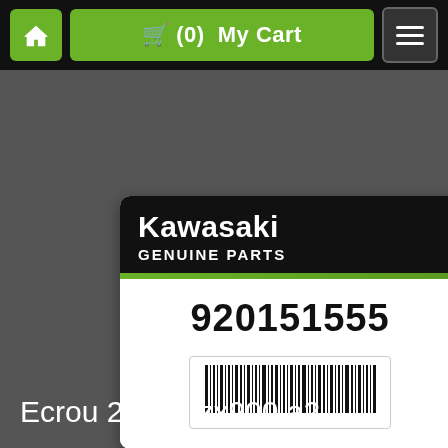🏠  🛒 (0) My Cart  ☰
920151555
[Figure (logo): Kawasaki Genuine Parts product label showing part number 920151555 with barcode on white/black card]
Ecrou 20mm zx900 a2